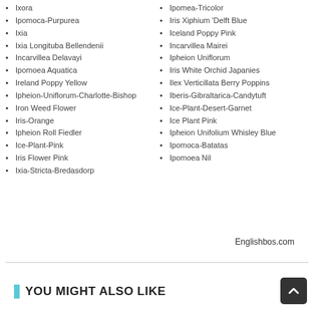Ixora
Ipomoca-Purpurea
Ixia
Ixia Longituba Bellendenii
Incarvillea Delavayi
Ipomoea Aquatica
Ireland Poppy Yellow
Ipheion-Uniflorum-Charlotte-Bishop
Iron Weed Flower
Iris-Orange
Ipheion Roll Fiedler
Ice-Plant-Pink
Iris Flower Pink
Ixia-Stricta-Bredasdorp
Ipomea-Tricolor
Iris Xiphium 'Delft Blue
Iceland Poppy Pink
Incarvillea Mairei
Ipheion Uniflorum
Iris White Orchid Japanies
Ilex Verticillata Berry Poppins
Iberis-Gibraltarica-Candytuft
Ice-Plant-Desert-Garnet
Ice Plant Pink
Ipheion Unifolium Whisley Blue
Ipomoca-Batatas
Ipomoea Nil
Englishbos.com
YOU MIGHT ALSO LIKE